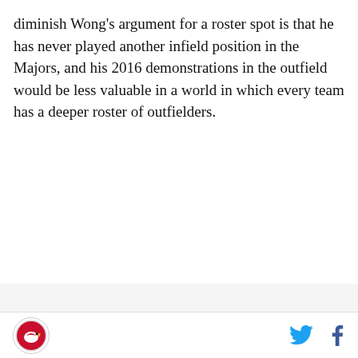diminish Wong's argument for a roster spot is that he has never played another infield position in the Majors, and his 2016 demonstrations in the outfield would be less valuable in a world in which every team has a deeper roster of outfielders.
[Figure (other): AD placeholder area with light gray background]
Cardinals logo (left), Twitter and Facebook social icons (right)